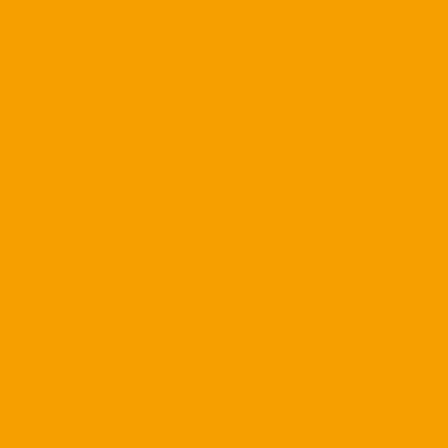all of you for jumping the gun...pound bag of Crow. The Pictu...Canes! Beat UVA! Oh yeah t...
Posted by: Terrance Sullivan | Nov...
[Figure (photo): Avatar image - football helmet graphic with orange and teal colors]
Posted by: Terrance Sullivan
LOL!
Golden TateVerified account @ShowtimeTate
My expression says it all. He... #OneBetSettledOneMoreToG...
https://pbs.twimg.com/media/...
Posted by: 30CINCO | November 1...
[Figure (photo): Avatar image - green geometric/soccer ball pattern on green background]
" EARLY RISERS: This is onl... this season. Since 2013, in m... Virginia is 1-6. Miami has an... next Friday in its regular-seas...